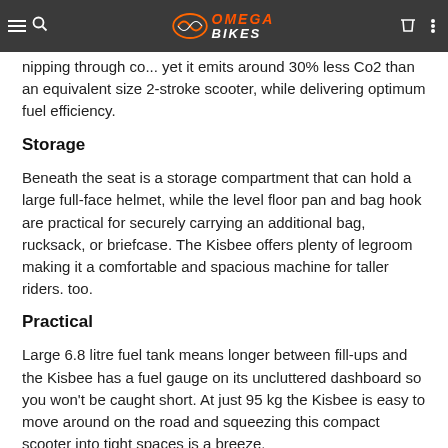nipping through co... yet it emits around 30% less Co2 than an equivalent size 2-stroke scooter, while delivering optimum fuel efficiency. | OMEGA BIKES logo
nipping through co... yet it emits around 30% less Co2 than an equivalent size 2-stroke scooter, while delivering optimum fuel efficiency.
Storage
Beneath the seat is a storage compartment that can hold a large full-face helmet, while the level floor pan and bag hook are practical for securely carrying an additional bag, rucksack, or briefcase. The Kisbee offers plenty of legroom making it a comfortable and spacious machine for taller riders. too.
Practical
Large 6.8 litre fuel tank means longer between fill-ups and the Kisbee has a fuel gauge on its uncluttered dashboard so you won't be caught short. At just 95 kg the Kisbee is easy to move around on the road and squeezing this compact scooter into tight spaces is a breeze.